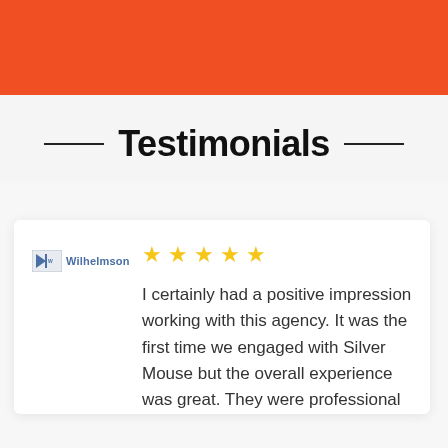[Figure (other): Orange banner/header bar at top of page]
Testimonials
[Figure (logo): Wilhelmson company logo with flag icon and company name]
I certainly had a positive impression working with this agency. It was the first time we engaged with Silver Mouse but the overall experience was great. They were professional
[Figure (infographic): Five gold/yellow star rating icons]